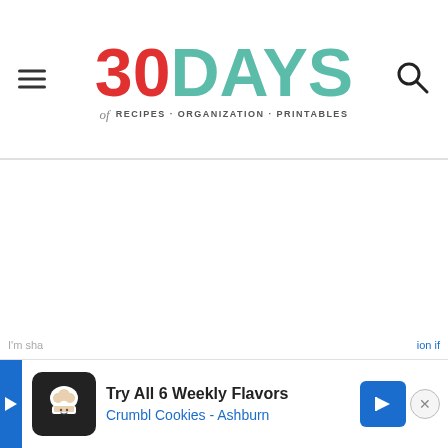[Figure (logo): 30 Days of Recipes · Organization · Printables logo. '30' in red, 'DAYS' in teal/mint, 'of' in italic gray, tagline 'RECIPES · ORGANIZATION · PRINTABLES' in small caps. Hamburger menu icon on left, search icon on right.]
[Figure (screenshot): Large white empty content area below the header divider line.]
I'm sha... ion if
[Figure (other): Advertisement banner: 'Try All 6 Weekly Flavors / Crumbl Cookies - Ashburn' with Crumbl Cookies logo icon, blue navigation arrow icon, close button, and play/skip button on left.]